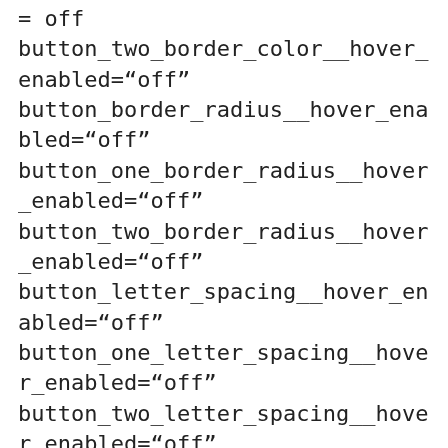= off
button_two_border_color__hover_enabled="off"
button_border_radius__hover_enabled="off"
button_one_border_radius__hover_enabled="off"
button_two_border_radius__hover_enabled="off"
button_letter_spacing__hover_enabled="off"
button_one_letter_spacing__hover_enabled="off"
button_two_letter_spacing__hover_enabled="off"
button_bg_color__hover_enabled="off"
button_one_bg_color__hover_enabled="off